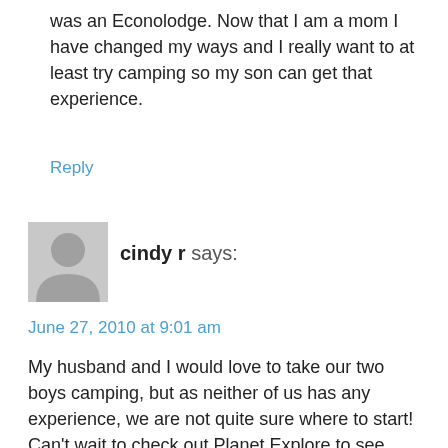was an Econolodge. Now that I am a mom I have changed my ways and I really want to at least try camping so my son can get that experience.
Reply
[Figure (illustration): Generic gray user avatar silhouette placeholder image]
cindy r says:
June 27, 2010 at 9:01 am
My husband and I would love to take our two boys camping, but as neither of us has any experience, we are not quite sure where to start! Can't wait to check out Planet Explore to see what is around us. We need a camping mentor!
Would love to win this great give-away - might just be the kick-start we need to go from all-we-do-is-talk-to-actually-doing!